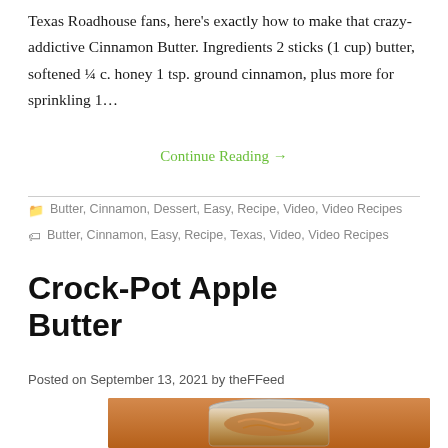Texas Roadhouse fans, here's exactly how to make that crazy-addictive Cinnamon Butter. Ingredients 2 sticks (1 cup) butter, softened ¼ c. honey 1 tsp. ground cinnamon, plus more for sprinkling 1…
Continue Reading →
Butter, Cinnamon, Dessert, Easy, Recipe, Video, Video Recipes
Butter, Cinnamon, Easy, Recipe, Texas, Video, Video Recipes
Crock-Pot Apple Butter
Posted on September 13, 2021 by theFFeed
[Figure (photo): Photo of a jar of apple butter with a spoon, warm brown tones]